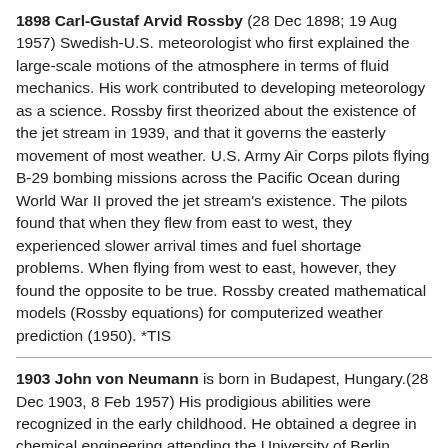1898 Carl-Gustaf Arvid Rossby (28 Dec 1898; 19 Aug 1957) Swedish-U.S. meteorologist who first explained the large-scale motions of the atmosphere in terms of fluid mechanics. His work contributed to developing meteorology as a science. Rossby first theorized about the existence of the jet stream in 1939, and that it governs the easterly movement of most weather. U.S. Army Air Corps pilots flying B-29 bombing missions across the Pacific Ocean during World War II proved the jet stream's existence. The pilots found that when they flew from east to west, they experienced slower arrival times and fuel shortage problems. When flying from west to east, however, they found the opposite to be true. Rossby created mathematical models (Rossby equations) for computerized weather prediction (1950). *TIS
1903 John von Neumann is born in Budapest, Hungary.(28 Dec 1903, 8 Feb 1957) His prodigious abilities were recognized in the early childhood. He obtained a degree in chemical engineering attending the University of Berlin (1921-1923) and the Technische Hochschule in Zurich (1923-1926). *CHM